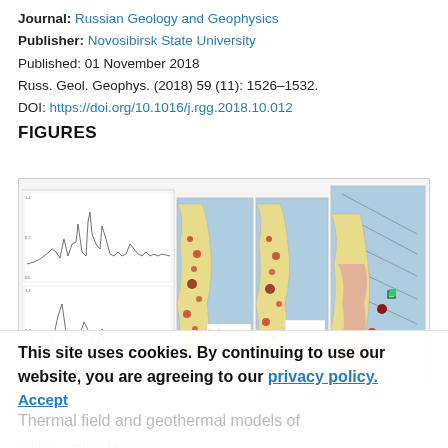Journal: Russian Geology and Geophysics
Publisher: Novosibirsk State University
Published: 01 November 2018
Russ. Geol. Geophys. (2018) 59 (11): 1526–1532.
DOI: https://doi.org/10.1016/j.rgg.2018.10.012
FIGURES
[Figure (other): Composite figure panel with seismic waveform charts on the left and three geological/geothermal maps on the right showing a coastal region with earthquake epicenters and thermal field data.]
Abstract ∨   PDF   Purchase
Add to Citation Manager
This site uses cookies. By continuing to use our website, you are agreeing to our privacy policy. Accept
Thermal field and geothermal models of